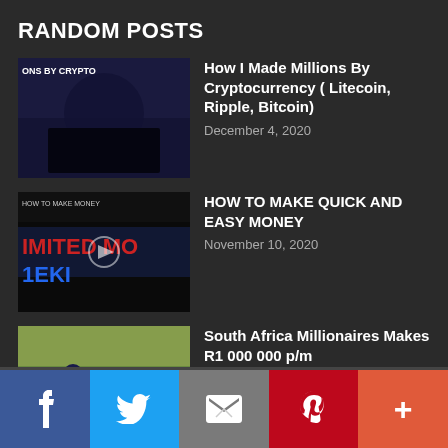RANDOM POSTS
How I Made Millions By Cryptocurrency ( Litecoin, Ripple, Bitcoin)
December 4, 2020
HOW TO MAKE QUICK AND EASY MONEY
November 10, 2020
South Africa Millionaires Makes R1 000 000 p/m
December 4, 2020